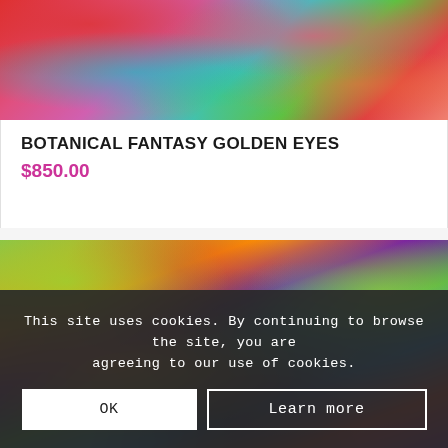[Figure (photo): Colorful abstract botanical fantasy painting with red, pink, teal, and green psychedelic patterns and shapes]
BOTANICAL FANTASY GOLDEN EYES
$850.00
Add to basket   Show Details
[Figure (photo): Colorful abstract painting with bright yellow-green spots, orange, teal, red, and purple swirling patterns, with a dark face/figure visible at bottom]
This site uses cookies. By continuing to browse the site, you are agreeing to our use of cookies.
OK   Learn more